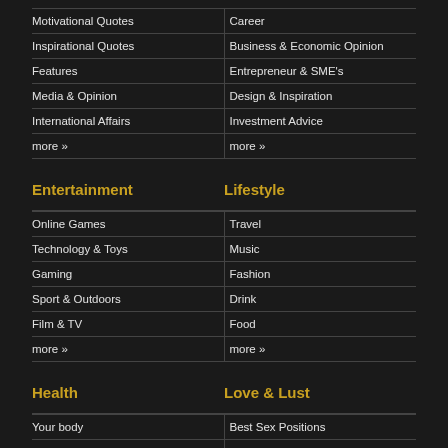Motivational Quotes | Career
Inspirational Quotes | Business & Economic Opinion
Features | Entrepreneur & SME's
Media & Opinion | Design & Inspiration
International Affairs | Investment Advice
more » | more »
Entertainment
Lifestyle
Online Games | Travel
Technology & Toys | Music
Gaming | Fashion
Sport & Outdoors | Drink
Film & TV | Food
more » | more »
Health
Love & Lust
Your body | Best Sex Positions
Mental Health | Top 10 Sex Positions
Exercise | Sex